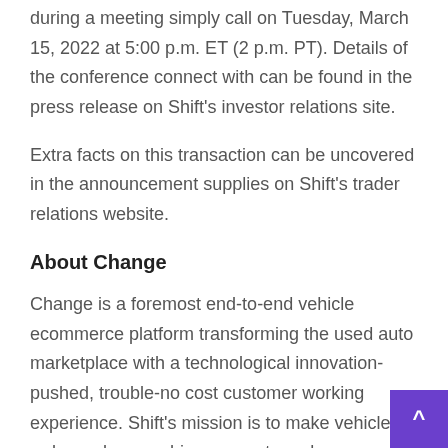during a meeting simply call on Tuesday, March 15, 2022 at 5:00 p.m. ET (2 p.m. PT). Details of the conference connect with can be found in the press release on Shift's investor relations site.
Extra facts on this transaction can be uncovered in the announcement supplies on Shift's trader relations website.
About Change
Change is a foremost end-to-end vehicle ecommerce platform transforming the used auto marketplace with a technological innovation-pushed, trouble-no cost customer working experience. Shift's mission is to make vehicle order and ownership easy — to make